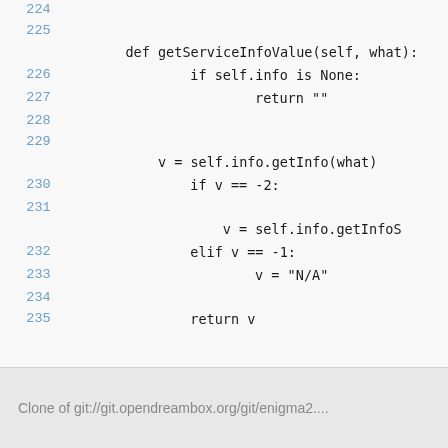[Figure (screenshot): Python source code snippet showing lines 224-235 of a method getServiceInfoValue with logic for None, -2, and -1 cases]
Clone of git://git.opendreambox.org/git/enigma2....